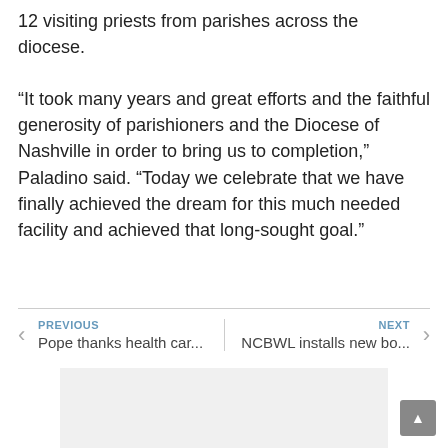12 visiting priests from parishes across the diocese.
“It took many years and great efforts and the faithful generosity of parishioners and the Diocese of Nashville in order to bring us to completion,” Paladino said. “Today we celebrate that we have finally achieved the dream for this much needed facility and achieved that long-sought goal.”
PREVIOUS
Pope thanks health car...
NEXT
NCBWL installs new bo...